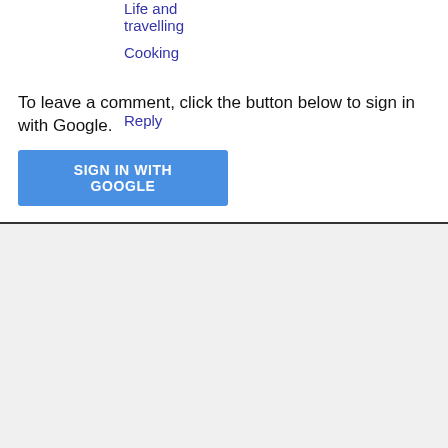Life and travelling
Cooking
Reply
To leave a comment, click the button below to sign in with Google.
SIGN IN WITH GOOGLE
Home
View web version
[Figure (photo): Black and white photo showing arms or legs, partially visible at the right side of the page]